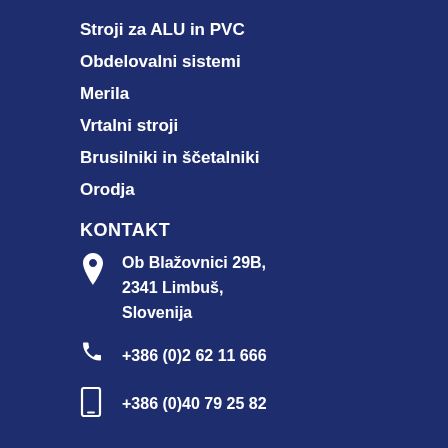Stroji za ALU in PVC
Obdelovalni sistemi
Merila
Vrtalni stroji
Brusilniki in ščetalniki
Orodja
KONTAKT
Ob Blažovnici 29B, 2341 Limbuš, Slovenija
+386 (0)2 62 11 666
+386 (0)40 79 25 82